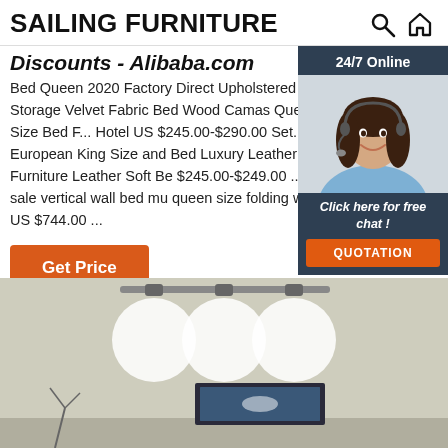SAILING FURNITURE
Discounts - Alibaba.com
Bed Queen 2020 Factory Direct Upholstered Modern Storage Velvet Fabric Bed Wood Camas Queen King Size Bed F... Hotel US $245.00-$290.00 Set. ... AI DI European King Size and Bed Luxury Leather Modern Furniture Leather Soft Be $245.00-$249.00 ... most hot sale vertical wall bed mu queen size folding wall bed. US $744.00 ...
[Figure (photo): Customer service representative woman with headset smiling, with 24/7 Online label and chat widget overlay]
Get Price
[Figure (photo): Room interior with track lighting spotlights on ceiling illuminating a wall with a framed artwork]